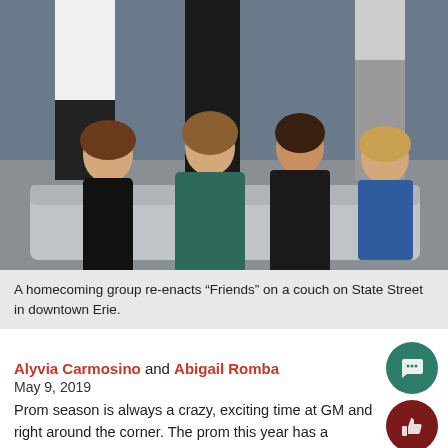[Figure (photo): A group of students in formal wear (homecoming dresses and suits) seated on a couch outdoors on a street. Three males standing in background. Four females seated in foreground wearing black, teal, black, and blue dresses.]
A homecoming group re-enacts “Friends” on a couch on State Street in downtown Erie.
Alyvia Carmosino and Abigail Romba
May 9, 2019
Prom season is always a crazy, exciting time at GM and right around the corner. The prom this year has a fairytale